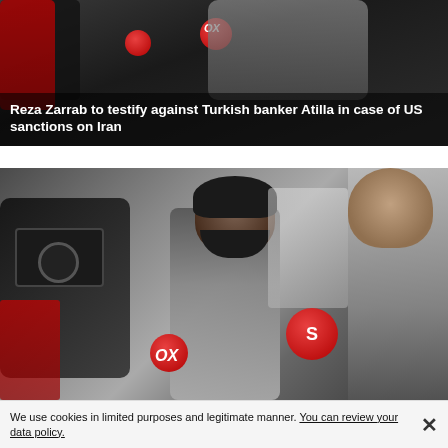[Figure (photo): Photo of a man surrounded by reporters with red microphones (FOX label visible), dark background. Overlaid headline text on dark semi-transparent band at bottom.]
Reza Zarrab to testify against Turkish banker Atilla in case of US sanctions on Iran
[Figure (photo): Photo of a bearded man (Reza Zarrab) surrounded by media reporters with red microphones including FOX and S-logo branded mics. Camera crew visible on left. Another person on far right.]
We use cookies in limited purposes and legitimate manner. You can review your data policy.